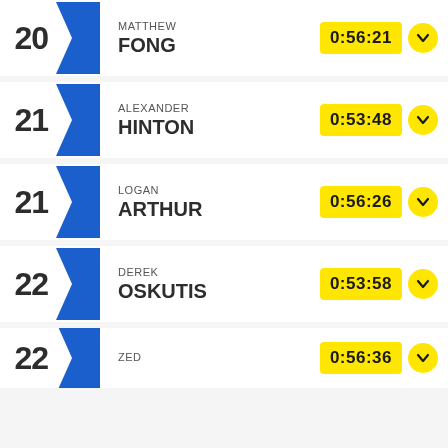20 MATTHEW FONG 0:56:21
21 ALEXANDER HINTON 0:53:48
21 LOGAN ARTHUR 0:56:26
22 DEREK OSKUTIS 0:53:58
22 ZED 0:56:36